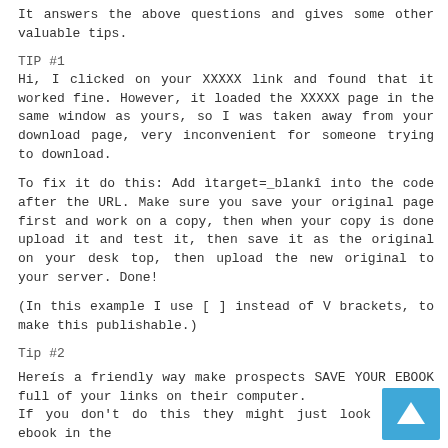It answers the above questions and gives some other valuable tips.
TIP #1
Hi, I clicked on your XXXXX link and found that it worked fine. However, it loaded the XXXXX page in the same window as yours, so I was taken away from your download page, very inconvenient for someone trying to download.
To fix it do this: Add ìtarget=_blankî into the code after the URL. Make sure you save your original page first and work on a copy, then when your copy is done upload it and test it, then save it as the original on your desk top, then upload the new original to your server. Done!
(In this example I use [ ] instead of V brackets, to make this publishable.)
Tip #2
Hereís a friendly way make prospects SAVE YOUR EBOOK full of your links on their computer.
If you don't do this they might just look at the ebook in the